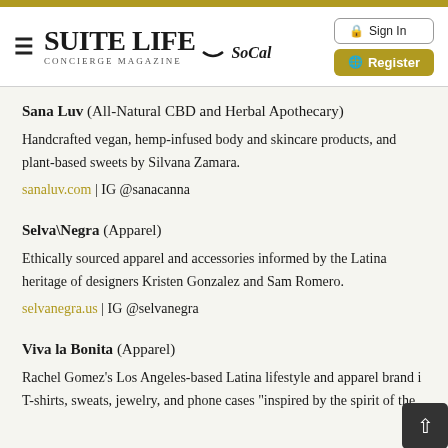Suite Life Concierge Magazine SoCal — Sign In | Register
Sana Luv (All-Natural CBD and Herbal Apothecary)
Handcrafted vegan, hemp-infused body and skincare products, and plant-based sweets by Silvana Zamara.
sanaluv.com | IG @sanacanna
Selva\Negra (Apparel)
Ethically sourced apparel and accessories informed by the Latina heritage of designers Kristen Gonzalez and Sam Romero.
selvanegra.us | IG @selvanegra
Viva la Bonita (Apparel)
Rachel Gomez's Los Angeles-based Latina lifestyle and apparel brand i… T-shirts, sweats, jewelry, and phone cases "inspired by the spirit of the